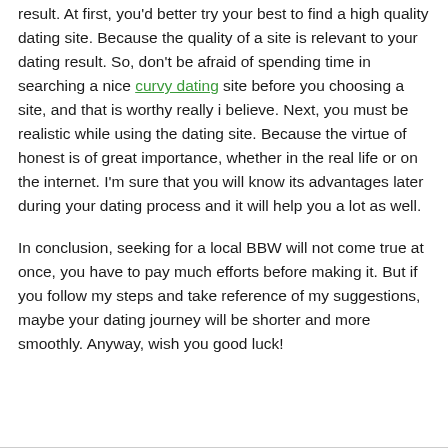result. At first, you'd better try your best to find a high quality dating site. Because the quality of a site is relevant to your dating result. So, don't be afraid of spending time in searching a nice curvy dating site before you choosing a site, and that is worthy really i believe. Next, you must be realistic while using the dating site. Because the virtue of honest is of great importance, whether in the real life or on the internet. I'm sure that you will know its advantages later during your dating process and it will help you a lot as well.
In conclusion, seeking for a local BBW will not come true at once, you have to pay much efforts before making it. But if you follow my steps and take reference of my suggestions, maybe your dating journey will be shorter and more smoothly. Anyway, wish you good luck!